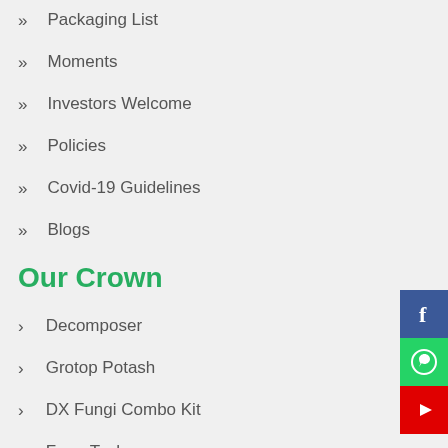Packaging List
Moments
Investors Welcome
Policies
Covid-19 Guidelines
Blogs
Our Crown
Decomposer
Grotop Potash
DX Fungi Combo Kit
Farm Tech